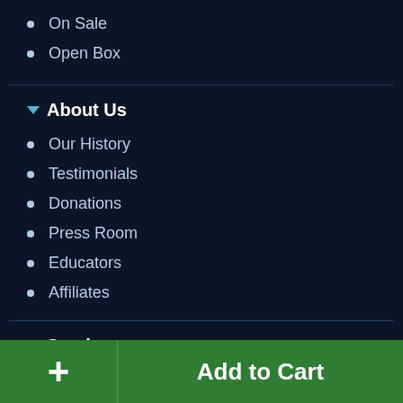On Sale
Open Box
About Us
Our History
Testimonials
Donations
Press Room
Educators
Affiliates
Services
Financing
Protection Plans
+ Add to Cart